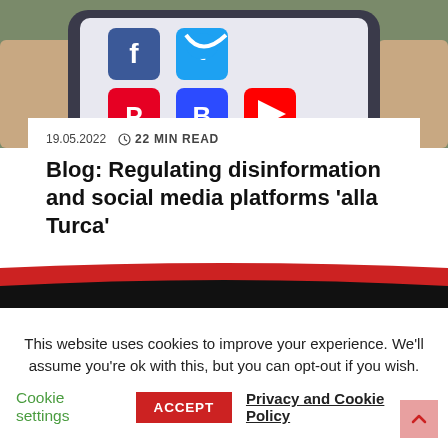[Figure (photo): A hand holding a smartphone displaying social media app icons including Facebook, Twitter, Pinterest, Buffer/Blogger, and YouTube]
19.05.2022   ⊙ 22 MIN READ
Blog: Regulating disinformation and social media platforms 'alla Turca'
This website uses cookies to improve your experience. We'll assume you're ok with this, but you can opt-out if you wish.
Cookie settings   ACCEPT   Privacy and Cookie Policy